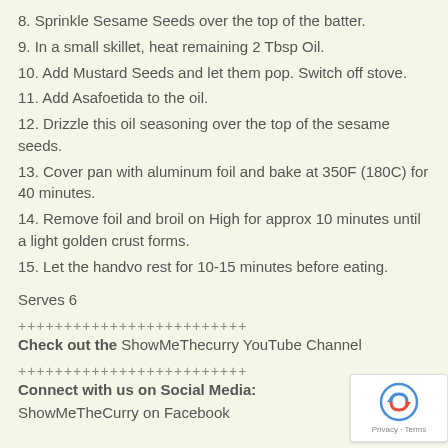8. Sprinkle Sesame Seeds over the top of the batter.
9. In a small skillet, heat remaining 2 Tbsp Oil.
10. Add Mustard Seeds and let them pop. Switch off stove.
11. Add Asafoetida to the oil.
12. Drizzle this oil seasoning over the top of the sesame seeds.
13. Cover pan with aluminum foil and bake at 350F (180C) for 40 minutes.
14. Remove foil and broil on High for approx 10 minutes until a light golden crust forms.
15. Let the handvo rest for 10-15 minutes before eating.
Serves 6
+++++++++++++++++++++++++
Check out the ShowMeThecurry YouTube Channel
+++++++++++++++++++++++++
Connect with us on Social Media:
ShowMeTheCurry on Facebook